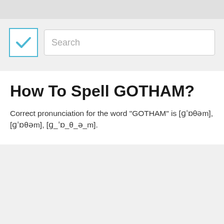[Figure (screenshot): Top navigation bar with a blue-bordered checkbox containing a blue checkmark and a search input field with placeholder text 'Search']
How To Spell GOTHAM?
Correct pronunciation for the word "GOTHAM" is [ɡˈɒθəm], [ɡˈɒθəm], [ɡ_ˈɒ_θ_ə_m].